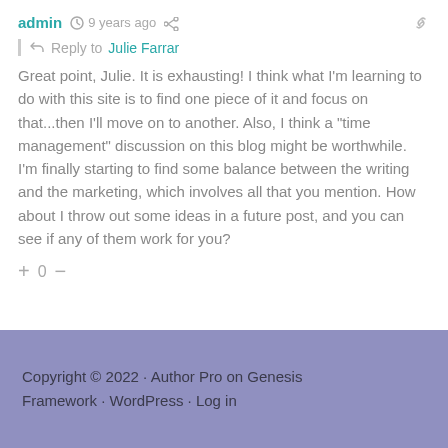admin  9 years ago
Reply to Julie Farrar
Great point, Julie. It is exhausting! I think what I'm learning to do with this site is to find one piece of it and focus on that...then I'll move on to another. Also, I think a "time management" discussion on this blog might be worthwhile. I'm finally starting to find some balance between the writing and the marketing, which involves all that you mention. How about I throw out some ideas in a future post, and you can see if any of them work for you?
+ 0 –
Copyright © 2022 · Author Pro on Genesis Framework · WordPress · Log in